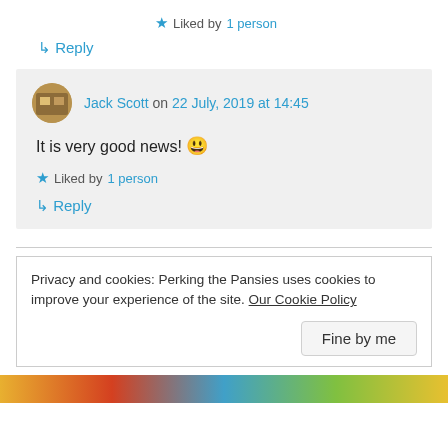★ Liked by 1 person
↳ Reply
Jack Scott on 22 July, 2019 at 14:45
It is very good news! 😄
★ Liked by 1 person
↳ Reply
Privacy and cookies: Perking the Pansies uses cookies to improve your experience of the site. Our Cookie Policy
Fine by me